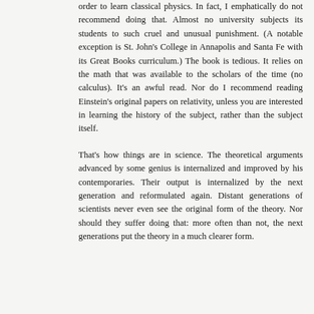order to learn classical physics. In fact, I emphatically do not recommend doing that. Almost no university subjects its students to such cruel and unusual punishment. (A notable exception is St. John's College in Annapolis and Santa Fe with its Great Books curriculum.) The book is tedious. It relies on the math that was available to the scholars of the time (no calculus). It's an awful read. Nor do I recommend reading Einstein's original papers on relativity, unless you are interested in learning the history of the subject, rather than the subject itself.
That's how things are in science. The theoretical arguments advanced by some genius is internalized and improved by his contemporaries. Their output is internalized by the next generation and reformulated again. Distant generations of scientists never even see the original form of the theory. Nor should they suffer doing that: more often than not, the next generations put the theory in a much clearer form.